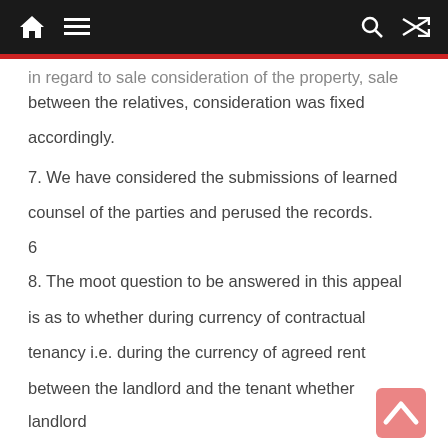in regard to sale consideration of the property, sale between the relatives, consideration was fixed accordingly.
7. We have considered the submissions of learned counsel of the parties and perused the records.
6
8. The moot question to be answered in this appeal is as to whether during currency of contractual tenancy i.e. during the currency of agreed rent between the landlord and the tenant whether landlord